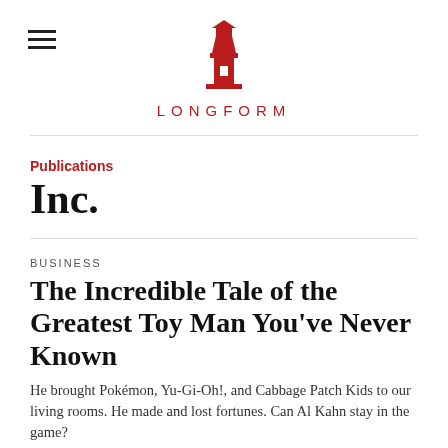[Figure (logo): Longform lighthouse logo — red lighthouse icon above the word LONGFORM in red spaced capitals]
Publications
Inc.
BUSINESS
The Incredible Tale of the Greatest Toy Man You've Never Known
He brought Pokémon, Yu-Gi-Oh!, and Cabbage Patch Kids to our living rooms. He made and lost fortunes. Can Al Kahn stay in the game?
SCOTT EDEN  INC.  NOV 2021  ∞